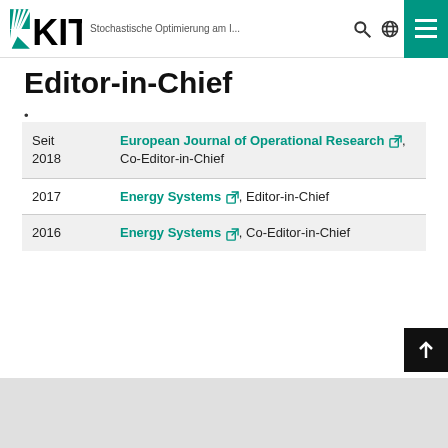KIT — Stochastische Optimierung am I...
Editor-in-Chief
| Year | Journal/Role |
| --- | --- |
| Seit 2018 | European Journal of Operational Research, Co-Editor-in-Chief |
| 2017 | Energy Systems, Editor-in-Chief |
| 2016 | Energy Systems, Co-Editor-in-Chief |